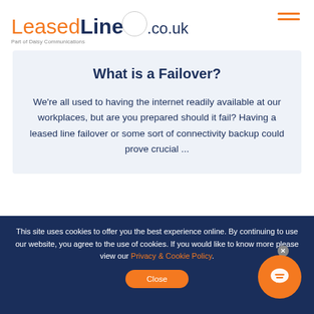LeasedLine.co.uk — Part of Daisy Communications
What is a Failover?
We're all used to having the internet readily available at our workplaces, but are you prepared should it fail? Having a leased line failover or some sort of connectivity backup could prove crucial ...
This site uses cookies to offer you the best experience online. By continuing to use our website, you agree to the use of cookies. If you would like to know more please view our Privacy & Cookie Policy. Close